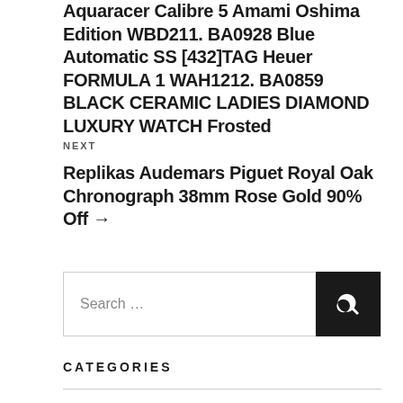Aquaracer Calibre 5 Amami Oshima Edition WBD211. BA0928 Blue Automatic SS [432] TAG Heuer FORMULA 1 WAH1212. BA0859 BLACK CERAMIC LADIES DIAMOND LUXURY WATCH Frosted
NEXT
Replikas Audemars Piguet Royal Oak Chronograph 38mm Rose Gold 90% Off →
Search …
CATEGORIES